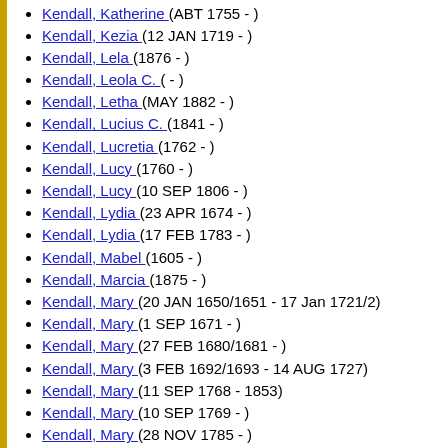Kendall, Katherine (ABT 1755 - )
Kendall, Kezia (12 JAN 1719 - )
Kendall, Lela (1876 - )
Kendall, Leola C. ( - )
Kendall, Letha (MAY 1882 - )
Kendall, Lucius C. (1841 - )
Kendall, Lucretia (1762 - )
Kendall, Lucy (1760 - )
Kendall, Lucy (10 SEP 1806 - )
Kendall, Lydia (23 APR 1674 - )
Kendall, Lydia (17 FEB 1783 - )
Kendall, Mabel (1605 - )
Kendall, Marcia (1875 - )
Kendall, Mary (20 JAN 1650/1651 - 17 Jan 1721/2)
Kendall, Mary (1 SEP 1671 - )
Kendall, Mary (27 FEB 1680/1681 - )
Kendall, Mary (3 FEB 1692/1693 - 14 AUG 1727)
Kendall, Mary (11 SEP 1768 - 1853)
Kendall, Mary (10 SEP 1769 - )
Kendall, Mary (28 NOV 1785 - )
Kendall, Matilda Silva (14 NOV 1820 - )
Kendall, May (1867 - )
Kendall, Milo Lewis (25 NOV 1838 - 15 MAY 1901)
Kendall, Nancy S. ( - )
Kendall, Nathan (12 DEC 1702 - )